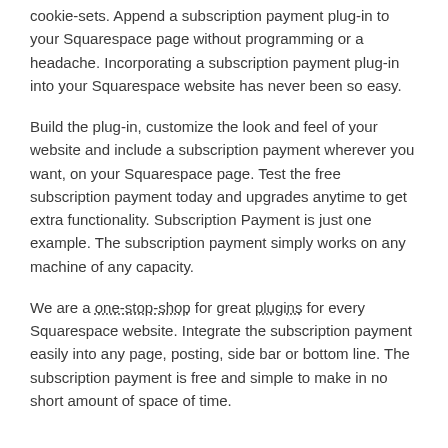cookie-sets. Append a subscription payment plug-in to your Squarespace page without programming or a headache. Incorporating a subscription payment plug-in into your Squarespace website has never been so easy.
Build the plug-in, customize the look and feel of your website and include a subscription payment wherever you want, on your Squarespace page. Test the free subscription payment today and upgrades anytime to get extra functionality. Subscription Payment is just one example. The subscription payment simply works on any machine of any capacity.
We are a one-stop-shop for great plugins for every Squarespace website. Integrate the subscription payment easily into any page, posting, side bar or bottom line. The subscription payment is free and simple to make in no short amount of space of time.